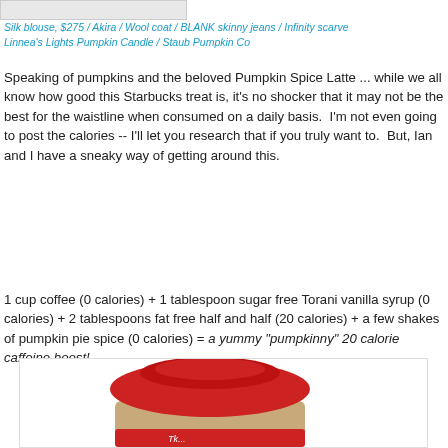[Figure (photo): Partial top image strip, gray rectangle]
Silk blouse, $275 / Akira / Wool coat / BLANK skinny jeans / Infinity scarve... / Linnea's Lights Pumpkin Candle / Staub Pumpkin Co...
Speaking of pumpkins and the beloved Pumpkin Spice Latte ... while we all know how good this Starbucks treat is, it's no shocker that it may not be the best for the waistline when consumed on a daily basis.  I'm not even going to post the calories -- I'll let you research that if you truly want to.  But, Ian and I have a sneaky way of getting around this.
1 cup coffee (0 calories) + 1 tablespoon sugar free Torani vanilla syrup (0 calories) + 2 tablespoons fat free half and half (20 calories) + a few shakes of pumpkin pie spice (0 calories) = a yummy "pumpkinny" 20 calorie caffeine boost!
[Figure (photo): Photo of a spice jar with a red lid, partially visible, showing pumpkin pie spice]